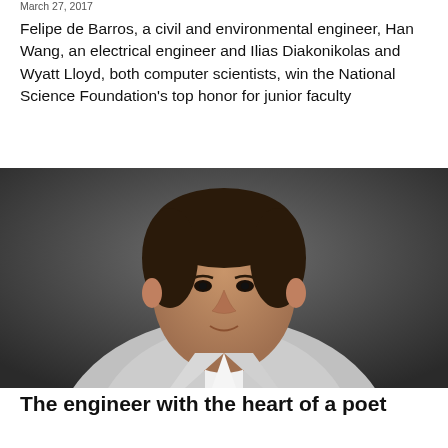March 27, 2017
Felipe de Barros, a civil and environmental engineer, Han Wang, an electrical engineer and Ilias Diakonikolas and Wyatt Lloyd, both computer scientists, win the National Science Foundation's top honor for junior faculty
[Figure (photo): Portrait photo of a middle-aged man in a light gray suit with a patterned tie, against a dark gray background]
The engineer with the heart of a poet